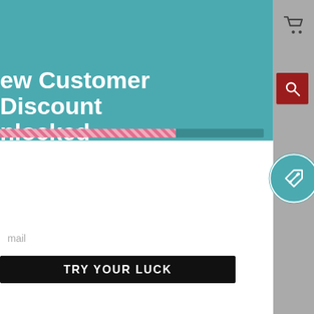New Customer Discount Unlocked
offers claimed. Hurry up!
of our first time customers have a chance to win a nice big discount. Are you ready?
you can spin the wheel only once.* If you win, you can claim your coupon for 10 mins only!
mail
TRY YOUR LUCK
No, I don't feel lucky